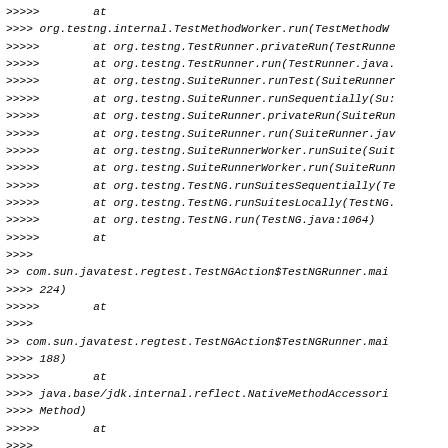>>>>> at
>>>> org.testng.internal.TestMethodWorker.run(TestMethodW
>>>>>        at org.testng.TestRunner.privateRun(TestRunne
>>>>>        at org.testng.TestRunner.run(TestRunner.java.
>>>>>        at org.testng.SuiteRunner.runTest(SuiteRunner
>>>>>        at org.testng.SuiteRunner.runSequentially(Su:
>>>>>        at org.testng.SuiteRunner.privateRun(SuiteRun
>>>>>        at org.testng.SuiteRunner.run(SuiteRunner.jav
>>>>>        at org.testng.SuiteRunnerWorker.runSuite(Suit
>>>>>        at org.testng.SuiteRunnerWorker.run(SuiteRunn
>>>>>        at org.testng.TestNG.runSuitesSequentially(Te
>>>>>        at org.testng.TestNG.runSuitesLocally(TestNG.
>>>>>        at org.testng.TestNG.run(TestNG.java:1064)
>>>>>        at
>>>>
>> com.sun.javatest.regtest.TestNGAction$TestNGRunner.mai
>>>> 224)
>>>>>        at
>>>>
>> com.sun.javatest.regtest.TestNGAction$TestNGRunner.mai
>>>> 188)
>>>>>        at
>>>> java.base/jdk.internal.reflect.NativeMethodAccessori
>>>> Method)
>>>>>        at
>>>>
>> java.base/jdk.internal.reflect.NativeMethodAccessorImp
>>>> AccessorImpl.java:62)
>>>>>        at
>>>>
>> java.base/jdk.internal.reflect.DelegatingMethodAccess